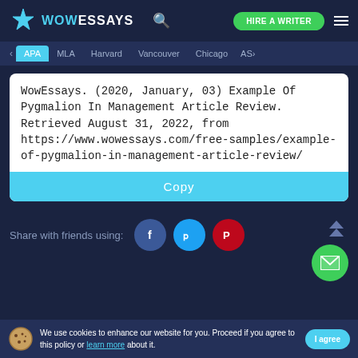WOW ESSAYS — HIRE A WRITER
APA  MLA  Harvard  Vancouver  Chicago  AS
WowEssays. (2020, January, 03) Example Of Pygmalion In Management Article Review. Retrieved August 31, 2022, from https://www.wowessays.com/free-samples/example-of-pygmalion-in-management-article-review/
Copy
Share with friends using:
We use cookies to enhance our website for you. Proceed if you agree to this policy or learn more about it.
I agree